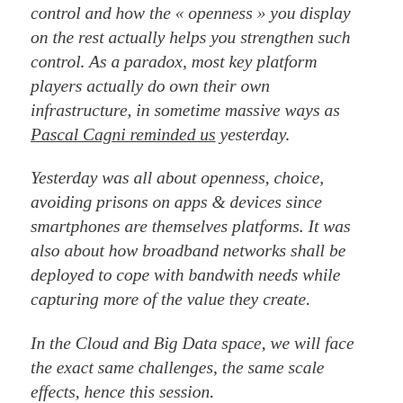control and how the « openness » you display on the rest actually helps you strengthen such control. As a paradox, most key platform players actually do own their own infrastructure, in sometime massive ways as Pascal Cagni reminded us yesterday.
Yesterday was all about openness, choice, avoiding prisons on apps & devices since smartphones are themselves platforms. It was also about how broadband networks shall be deployed to cope with bandwith needs while capturing more of the value they create.
In the Cloud and Big Data space, we will face the exact same challenges, the same scale effects, hence this session.
The panel on stage is a high profile and interesting